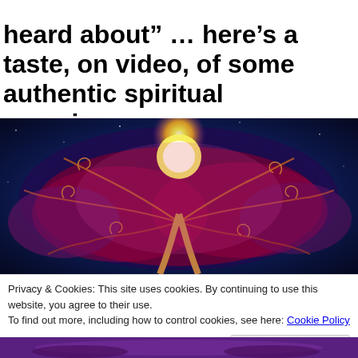heard about" … here's a taste, on video, of some authentic spiritual experiences….
[Figure (illustration): Digital painting of a glowing cosmic/spiritual tree with swirling vines and branches, a bright yellow sun/orb at the center-top, set against a deep blue starry background with red and purple hues.]
Privacy & Cookies: This site uses cookies. By continuing to use this website, you agree to their use.
To find out more, including how to control cookies, see here: Cookie Policy
[Figure (photo): Partial bottom image, appears to show a purple-toned scene, cropped.]